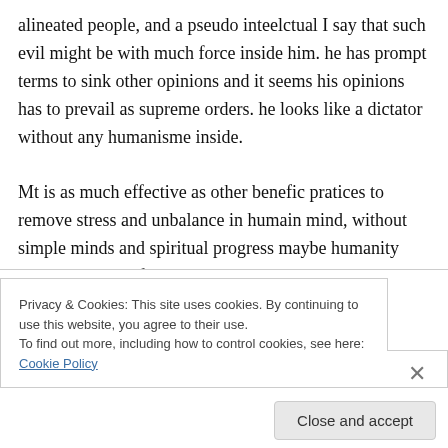alineated people, and a pseudo inteelctual I say that such evil might be with much force inside him. he has prompt terms to sink other opinions and it seems his opinions has to prevail as supreme orders. he looks like a dictator without any humanisme inside.
Mt is as much effective as other benefic pratices to remove stress and unbalance in humain mind, without simple minds and spiritual progress maybe humanity will perish one of this days.
To transform man to higher levels of awareness/
Privacy & Cookies: This site uses cookies. By continuing to use this website, you agree to their use.
To find out more, including how to control cookies, see here: Cookie Policy